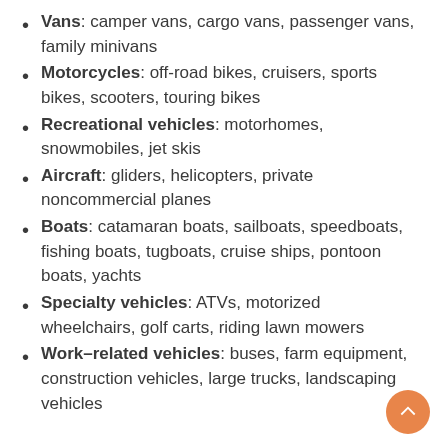Vans: camper vans, cargo vans, passenger vans, family minivans
Motorcycles: off-road bikes, cruisers, sports bikes, scooters, touring bikes
Recreational vehicles: motorhomes, snowmobiles, jet skis
Aircraft: gliders, helicopters, private noncommercial planes
Boats: catamaran boats, sailboats, speedboats, fishing boats, tugboats, cruise ships, pontoon boats, yachts
Specialty vehicles: ATVs, motorized wheelchairs, golf carts, riding lawn mowers
Work-related vehicles: buses, farm equipment, construction vehicles, large trucks, landscaping vehicles